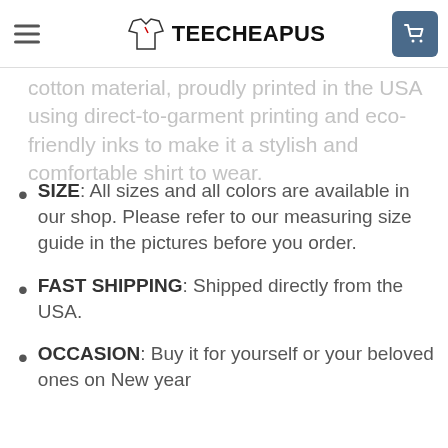TEECHEAPUS
cotton material, proudly printed in the USA using direct-to-garment printing and eco-friendly inks to make it a stylish and comfortable shirt to wear.
SIZE: All sizes and all colors are available in our shop. Please refer to our measuring size guide in the pictures before you order.
FAST SHIPPING: Shipped directly from the USA.
OCCASION: Buy it for yourself or your beloved ones on New year